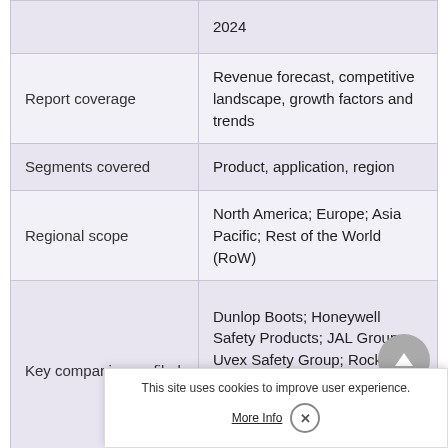|  |  |
| --- | --- |
|  | 2024 |
| Report coverage | Revenue forecast, competitive landscape, growth factors and trends |
| Segments covered | Product, application, region |
| Regional scope | North America; Europe; Asia Pacific; Rest of the World (RoW) |
| Key companies profiled | Dunlop Boots; Honeywell Safety Products; JAL Group; Uvex Safety Group; Rock Fall; VF C... A... E... |
This site uses cookies to improve user experience.
More Info